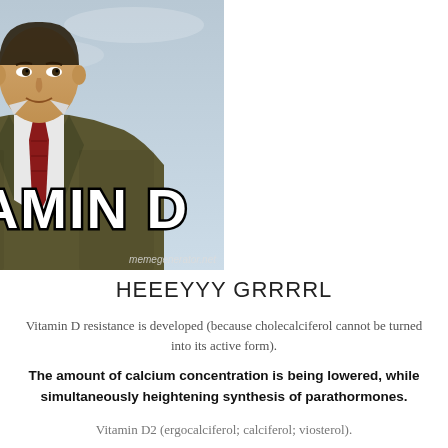[Figure (photo): Meme image of a man in a brown suit with red tie against a grey sky background, with 'VITAMIN D' text overlaid in large white Impact font with black outline, and 'memegenerator.net' watermark]
HEEEYYY GRRRRL
Vitamin D resistance is developed (because cholecalciferol cannot be turned into its active form).
The amount of calcium concentration is being lowered, while simultaneously heightening synthesis of parathormones.
Vitamin D2 (ergocalciferol; calciferol; viosterol).